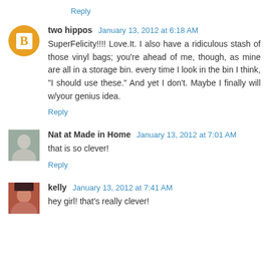Reply
two hippos  January 13, 2012 at 6:18 AM
SuperFelicity!!!! Love.It. I also have a ridiculous stash of those vinyl bags; you're ahead of me, though, as mine are all in a storage bin. every time I look in the bin I think, "I should use these." And yet I don't. Maybe I finally will w/your genius idea.
Reply
Nat at Made in Home  January 13, 2012 at 7:01 AM
that is so clever!
Reply
kelly  January 13, 2012 at 7:41 AM
hey girl! that's really clever!